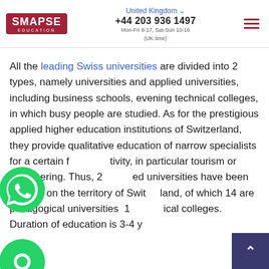SMAPSE EDUCATION | United Kingdom | +44 203 936 1497 | Mon-Fri 8-17, Sat-Sun 10-16 (UK time)
All the leading Swiss universities are divided into 2 types, namely universities and applied universities, including business schools, evening technical colleges, in which busy people are studied. As for the prestigious applied higher education institutions of Switzerland, they provide qualitative education of narrow specialists for a certain f[ield of ac]tivity, in particular tourism or engineering. Thus, 2[0 appli]ed universities have been created on the territory of Swit[zer]land, of which 14 are pedagogical universities[,] 1[2 techn]ical colleges. Duration of education is 3-4 y[ears.]